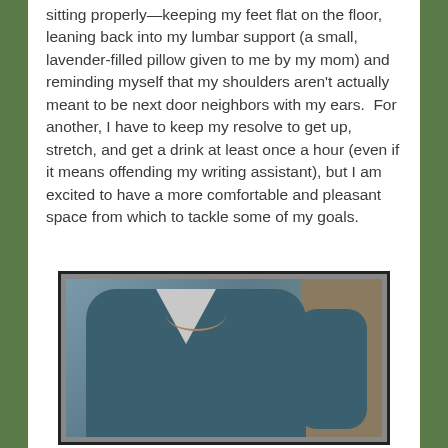sitting properly—keeping my feet flat on the floor, leaning back into my lumbar support (a small, lavender-filled pillow given to me by my mom) and reminding myself that my shoulders aren't actually meant to be next door neighbors with my ears.  For another, I have to keep my resolve to get up, stretch, and get a drink at least once a hour (even if it means offending my writing assistant), but I am excited to have a more comfortable and pleasant space from which to tackle some of my goals.
[Figure (photo): Photo of a person wearing a teal/dark blue V-neck sweater with a necklace, partial torso shot.]